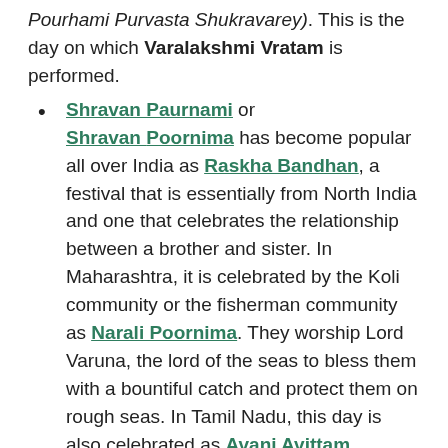Pourhami Purvasta Shukravarey). This is the day on which Varalakshmi Vratam is performed.
Shravan Paurnami or Shravan Poornima has become popular all over India as Raskha Bandhan, a festival that is essentially from North India and one that celebrates the relationship between a brother and sister. In Maharashtra, it is celebrated by the Koli community or the fisherman community as Narali Poornima. They worship Lord Varuna, the lord of the seas to bless them with a bountiful catch and protect them on rough seas. In Tamil Nadu, this day is also celebrated as Avani Avittam.
Gokulashtami, Krishnashtami, or Sri Krishna Janmashtami is the birth of Lord Krishna; He who gave the world the Bhagwat Gita and as a child was known to steal milk, curds, and butter from all